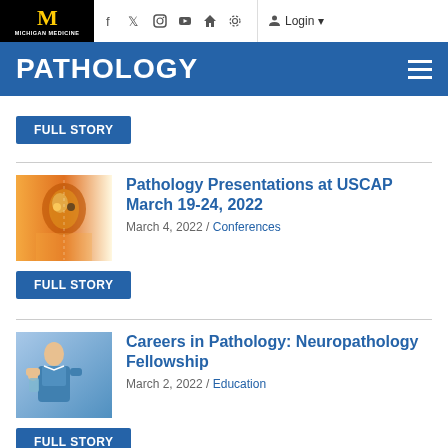PATHOLOGY — Michigan Medicine
[Figure (screenshot): FULL STORY button (top, from previous article)]
[Figure (photo): USCAP conference thumbnail — artistic metallic human head split image]
Pathology Presentations at USCAP March 19-24, 2022
March 4, 2022 / Conferences
[Figure (screenshot): FULL STORY button for USCAP article]
[Figure (photo): Neuropathology fellowship thumbnail — person in medical setting]
Careers in Pathology: Neuropathology Fellowship
March 2, 2022 / Education
[Figure (screenshot): FULL STORY button for Neuropathology Fellowship article]